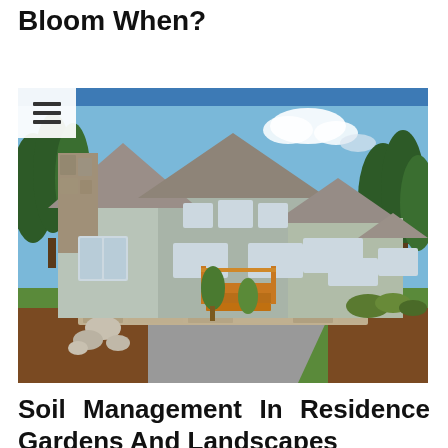Bloom When?
[Figure (photo): Exterior photo of a large craftsman-style house with stone chimney, gray siding, multiple gabled roofs, wood staircase entry, and landscaped front yard with rocks, shrubs, mulch, and trees under a blue sky]
Soil Management In Residence Gardens And Landscapes